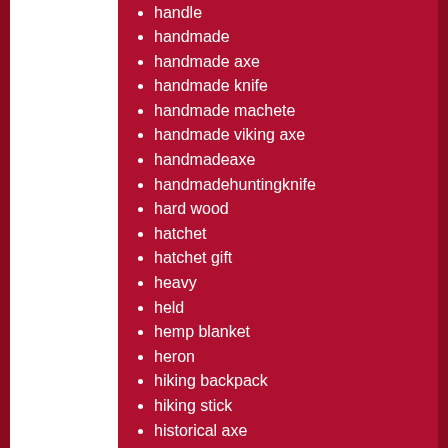handle
handmade
handmade axe
handmade knife
handmade machete
handmade viking axe
handmadeaxe
handmadehuntingknife
hard wood
hatchet
hatchet gift
heavy
held
hemp blanket
heron
hiking backpack
hiking stick
historical axe
historical kukri
honda
honey and handmade
hook sleeping bag
hour
housewarming gift
huge